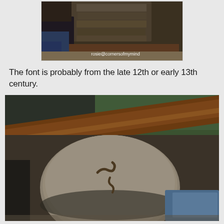[Figure (photo): Photo of a church font/baptismal stone object from above, dark indoor setting, with watermark text 'rosie@cornersofmymind']
The font is probably from the late 12th or early 13th century.
[Figure (photo): Close-up photo of a rounded stone with carved snake or serpent symbol on it, resting against wooden pew rail. Colorful kneelers visible in background.]